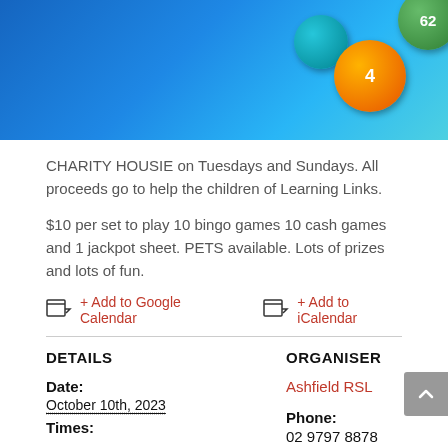[Figure (illustration): Bingo/housie header banner with blue gradient background and colorful numbered bingo balls (orange ball with 4, green ball with 62, teal ball partially visible)]
CHARITY HOUSIE on Tuesdays and Sundays. All proceeds go to help the children of Learning Links.
$10 per set to play 10 bingo games 10 cash games and 1 jackpot sheet. PETS available. Lots of prizes and lots of fun.
+ Add to Google Calendar   + Add to iCalendar
DETAILS
ORGANISER
Date:
October 10th, 2023
Ashfield RSL
Phone:
02 9797 8878
Times: